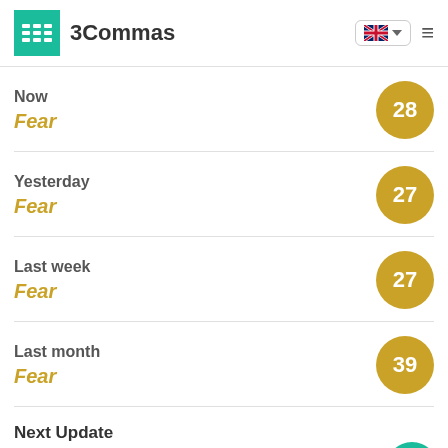3Commas
Now
Fear
28
Yesterday
Fear
27
Last week
Fear
27
Last month
Fear
39
Next Update
The next update will happe...